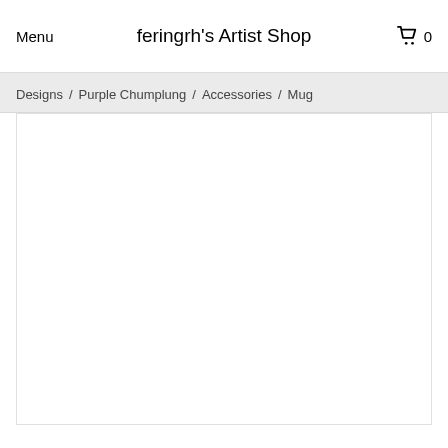Menu   feringrh's Artist Shop   0
Designs / Purple Chumplung / Accessories / Mug
[Figure (other): Empty white product image area for a mug product listing]